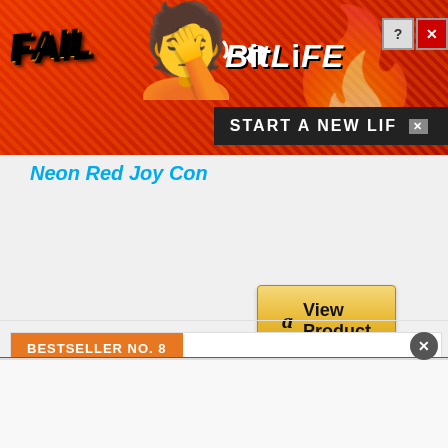[Figure (screenshot): BitLife advertisement banner with FAIL text, facepalm emoji, flames, BitLife logo with sperm icon, and START A NEW LIFE button on red dotted background]
Neon Red Joy Con
[Figure (screenshot): Amazon 'View Product' button with Amazon logo]
BESTSELLER NO. 8
[Figure (photo): Samsung SUHD TV Quantum dot television displaying a sunset over rocky coastline]